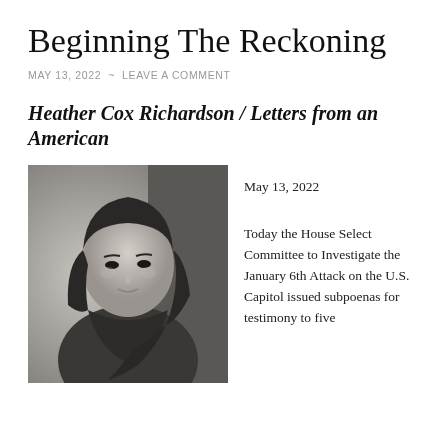Beginning The Reckoning
MAY 13, 2022 ~ LEAVE A COMMENT
Heather Cox Richardson / Letters from an American
[Figure (photo): Black and white portrait photograph of a woman with long dark hair, looking slightly to the side, wearing a draped top.]
May 13, 2022
Today the House Select Committee to Investigate the January 6th Attack on the U.S. Capitol issued subpoenas for testimony to five